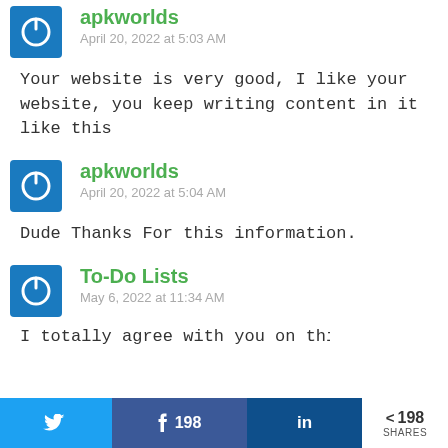[Figure (other): User avatar icon: blue square with white power button symbol]
apkworlds
April 20, 2022 at 5:03 AM
Your website is very good, I like your website, you keep writing content in it like this
[Figure (other): User avatar icon: blue square with white power button symbol]
apkworlds
April 20, 2022 at 5:04 AM
Dude Thanks For this information.
[Figure (other): User avatar icon: blue square with white power button symbol]
To-Do Lists
May 6, 2022 at 11:34 AM
I totally agree with you on this. We...
Twitter | Facebook 198 | LinkedIn | < 198 SHARES